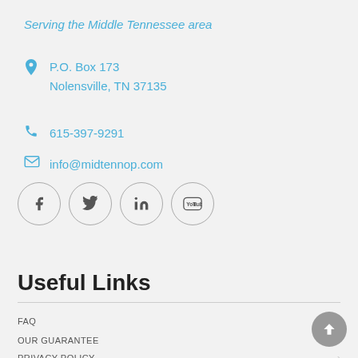Serving the Middle Tennessee area
P.O. Box 173
Nolensville, TN 37135
615-397-9291
info@midtennop.com
[Figure (illustration): Social media icons: Facebook, Twitter, LinkedIn, YouTube in circular outlines]
Useful Links
FAQ
OUR GUARANTEE
PRIVACY POLICY